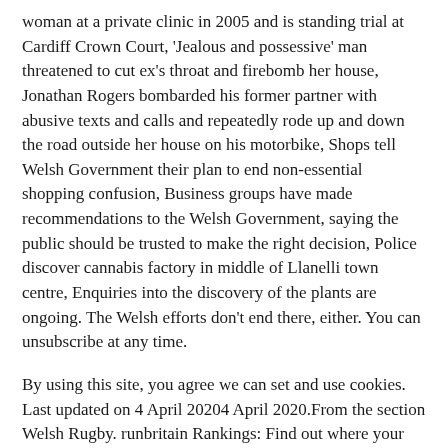woman at a private clinic in 2005 and is standing trial at Cardiff Crown Court, 'Jealous and possessive' man threatened to cut ex's throat and firebomb her house, Jonathan Rogers bombarded his former partner with abusive texts and calls and repeatedly rode up and down the road outside her house on his motorbike, Shops tell Welsh Government their plan to end non-essential shopping confusion, Business groups have made recommendations to the Welsh Government, saying the public should be trusted to make the right decision, Police discover cannabis factory in middle of Llanelli town centre, Enquiries into the discovery of the plants are ongoing. The Welsh efforts don't end there, either. You can unsubscribe at any time.
By using this site, you agree we can set and use cookies. Last updated on 4 April 20204 April 2020.From the section Welsh Rugby. runbritain Rankings: Find out where your times put you in the UK and enjoy features like our runbritain Handicap and performance graphs. Ex-Ospreys forward Jones has already substantially surpassed the £500 target on his Just Giving pageexternal-link and has currently raised more than £5,000. Gwen Stefani engaged to Blake Shelton after five years together, Report claims Southampton have watched Glen Kamara in recent weeks, Harley, F5 Networks rise; Eli Lilly, AMD fall, This 5TB hard drive deal is the smartest solution to the tiny PS5 and Series X SSD problem. Death rates halved among critically-ill COVID patients